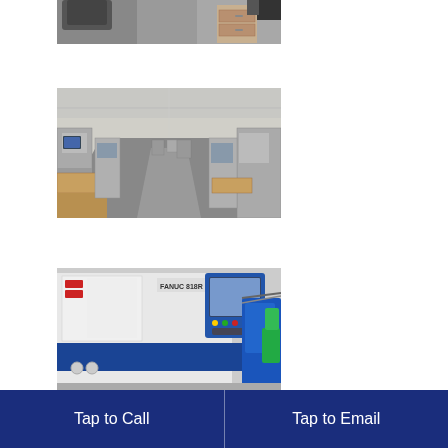[Figure (photo): Partial view of office/workshop area, partially cropped at top of page]
[Figure (photo): Wide shot of a manufacturing facility floor with CNC machines and workbenches arranged in rows]
[Figure (photo): Close-up of a white and blue CNC lathe machine (Fanuc brand) in a workshop]
Tap to Call    Tap to Email